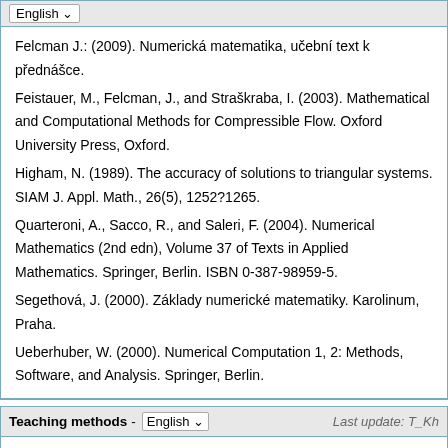Felcman J.: (2009). Numerická matematika, učební text k přednášce.
Feistauer, M., Felcman, J., and Straškraba, I. (2003). Mathematical and Computational Methods for Compressible Flow. Oxford University Press, Oxford.
Higham, N. (1989). The accuracy of solutions to triangular systems. SIAM J. Appl. Math., 26(5), 1252?1265.
Quarteroni, A., Sacco, R., and Saleri, F. (2004). Numerical Mathematics (2nd edn), Volume 37 of Texts in Applied Mathematics. Springer, Berlin. ISBN 0-387-98959-5.
Segethová, J. (2000). Základy numerické matematiky. Karolinum, Praha.
Ueberhuber, W. (2000). Numerical Computation 1, 2: Methods, Software, and Analysis. Springer, Berlin.
Teaching methods - English  Last update: T_Kh...
Lectures and tutorials in a lecture hall.
Requirements to the exam - English  Last update: doc. RNDr. Jiří Felcman, C...